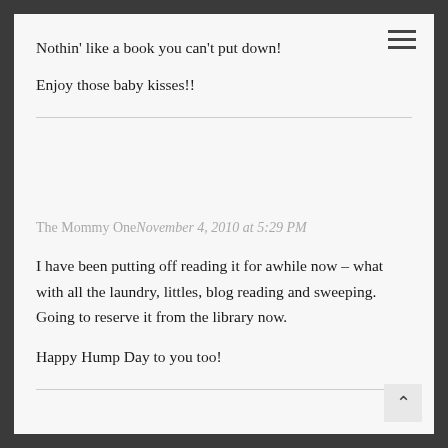Nothin' like a book you can't put down!
Enjoy those baby kisses!!
The Mommy One November 4, 2010 at 5:29 PM
I have been putting off reading it for awhile now – what with all the laundry, littles, blog reading and sweeping. Going to reserve it from the library now.
Happy Hump Day to you too!